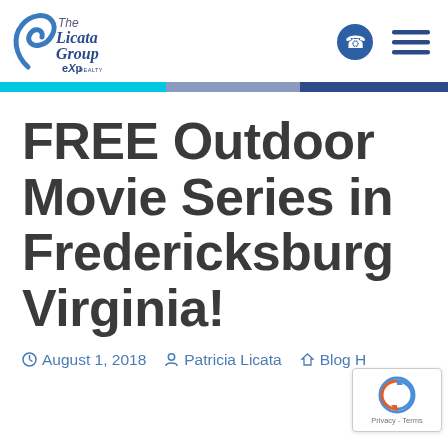The Licata Group eXp Realty — navigation header with phone icon and menu icon
FREE Outdoor Movie Series in Fredericksburg Virginia!
August 1, 2018   Patricia Licata   Blog H…